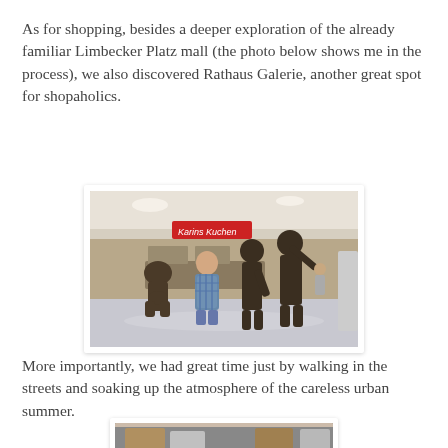As for shopping, besides a deeper exploration of the already familiar Limbecker Platz mall (the photo below shows me in the process), we also discovered Rathaus Galerie, another great spot for shopaholics.
[Figure (photo): Photo of a person posing with bronze statues inside a shopping mall. The statues depict figures in various poses; one is crouching, two are standing with one pointing upward. A person in a plaid shirt stands among them. The mall interior with shops and signage is visible in the background.]
More importantly, we had great time just by walking in the streets and soaking up the atmosphere of the careless urban summer.
[Figure (photo): Partial photo visible at the bottom of the page, showing what appears to be people outdoors.]